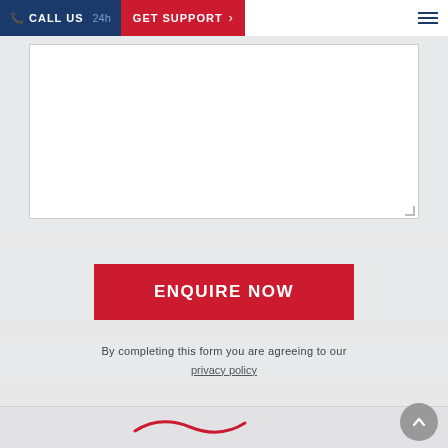CALL US 24h GET SUPPORT
[Figure (other): White textarea form input box with resize handle in bottom right corner]
[Figure (other): Red ENQUIRE NOW button]
By completing this form you are agreeing to our privacy policy
[Figure (illustration): Red swoosh/wave logo mark in footer]
[Figure (other): Grey circular back-to-top button with upward chevron]